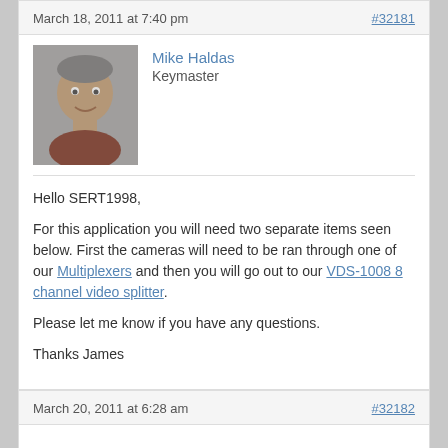March 18, 2011 at 7:40 pm
#32181
[Figure (photo): Profile photo of Mike Haldas, a man smiling, grayscale/muted tone]
Mike Haldas
Keymaster
Hello SERT1998,
For this application you will need two separate items seen below. First the cameras will need to be ran through one of our Multiplexers and then you will go out to our VDS-1008 8 channel video splitter.
Please let me know if you have any questions.
Thanks James
March 20, 2011 at 6:28 am
#32182
Anonymous
Inactive